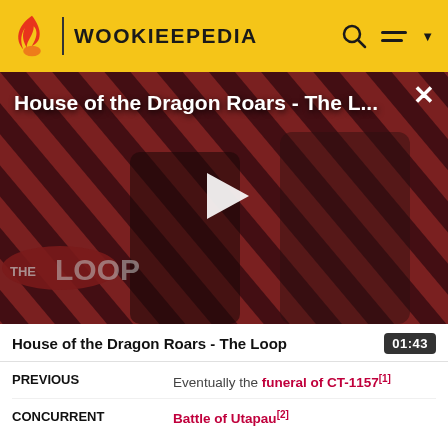WOOKIEEPEDIA
[Figure (screenshot): Video thumbnail for 'House of the Dragon Roars - The L...' showing two characters in front of a diagonal red-and-black striped background with THE LOOP logo overlay and a white play button in the center.]
House of the Dragon Roars - The Loop
| PREVIOUS | Eventually the funeral of CT-1157[1] |
| CONCURRENT | Battle of Utapau[2] |